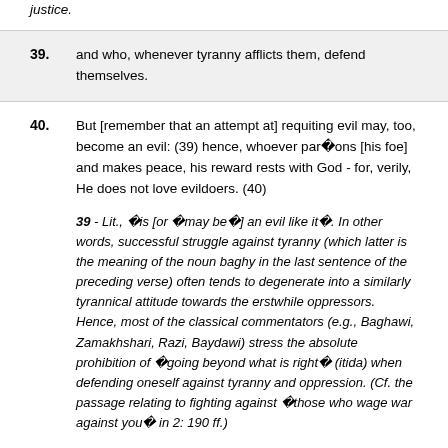justice.
39. and who, whenever tyranny afflicts them, defend themselves.
40. But [remember that an attempt at] requiting evil may, too, become an evil: (39) hence, whoever par�ons [his foe] and makes peace, his reward rests with God - for, verily, He does not love evildoers. (40)
39 - Lit., �is [or �may be�] an evil like it�. In other words, successful struggle against tyranny (which latter is the meaning of the noun baghy in the last sentence of the preceding verse) often tends to degenerate into a similarly tyrannical attitude towards the erstwhile oppressors. Hence, most of the classical commentators (e.g., Baghawi, Zamakhshari, Razi, Baydawi) stress the absolute prohibition of �going beyond what is right� (itida) when defending oneself against tyranny and oppression. (Cf. the passage relating to fighting against �those who wage war against you� in 2: 190 ff.)
40 - I.e., in this context, such as succumb to the